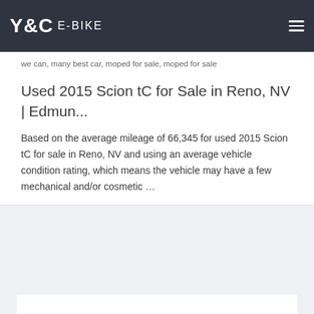Y&C E-BIKE
we can, many best car, moped for sale, moped for sale
Used 2015 Scion tC for Sale in Reno, NV | Edmun...
Based on the average mileage of 66,345 for used 2015 Scion tC for sale in Reno, NV and using an average vehicle condition rating, which means the vehicle may have a few mechanical and/or cosmetic …